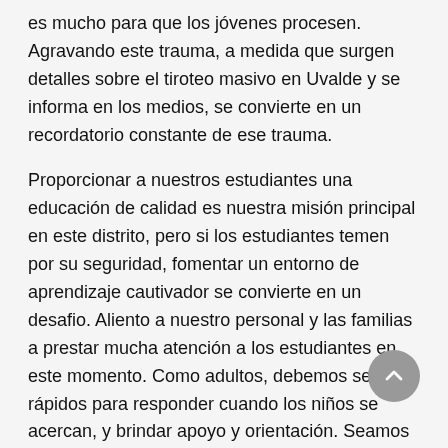es mucho para que los jóvenes procesen. Agravando este trauma, a medida que surgen detalles sobre el tiroteo masivo en Uvalde y se informa en los medios, se convierte en un recordatorio constante de ese trauma.
Proporcionar a nuestros estudiantes una educación de calidad es nuestra misión principal en este distrito, pero si los estudiantes temen por su seguridad, fomentar un entorno de aprendizaje cautivador se convierte en un desafio. Aliento a nuestro personal y las familias a prestar mucha atención a los estudiantes en este momento. Como adultos, debemos ser rápidos para responder cuando los niños se acercan, y brindar apoyo y orientación. Seamos considerados, empáticos, y demos gracia y brindemos apoyo a nuestros estudiantes en este momento.
Atentamente,
Rob Saxton, Superintendente Interino